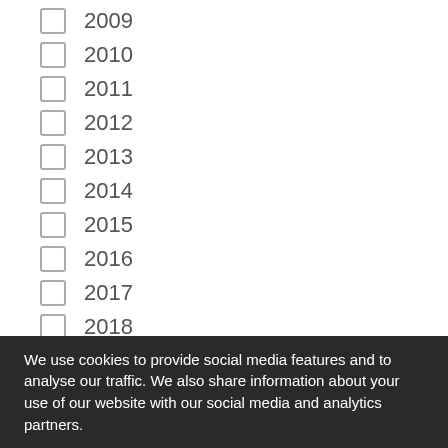2009
2010
2011
2012
2013
2014
2015
2016
2017
2018
2019 (checked)
2020
2021
2022
We use cookies to provide social media features and to analyse our traffic. We also share information about your use of our website with our social media and analytics partners.